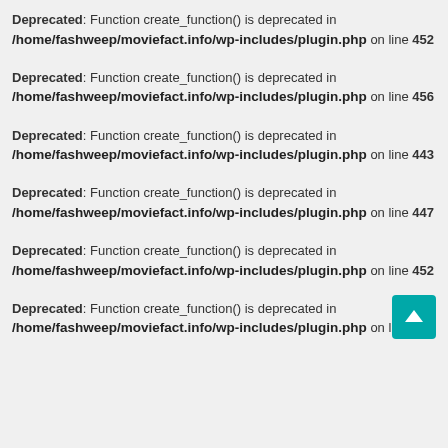Deprecated: Function create_function() is deprecated in /home/fashweep/moviefact.info/wp-includes/plugin.php on line 452
Deprecated: Function create_function() is deprecated in /home/fashweep/moviefact.info/wp-includes/plugin.php on line 456
Deprecated: Function create_function() is deprecated in /home/fashweep/moviefact.info/wp-includes/plugin.php on line 443
Deprecated: Function create_function() is deprecated in /home/fashweep/moviefact.info/wp-includes/plugin.php on line 447
Deprecated: Function create_function() is deprecated in /home/fashweep/moviefact.info/wp-includes/plugin.php on line 452
Deprecated: Function create_function() is deprecated in /home/fashweep/moviefact.info/wp-includes/plugin.php on line [obscured]